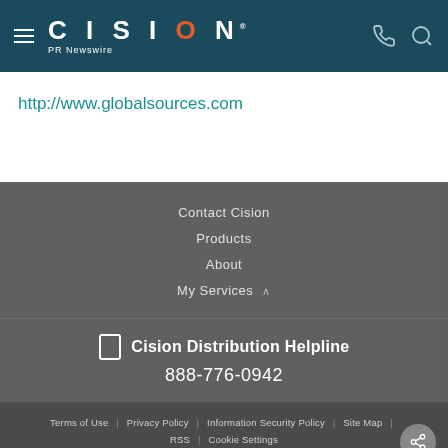CISION PR Newswire
http://www.globalsources.com
Contact Cision
Products
About
My Services
Cision Distribution Helpline 888-776-0942
Terms of Use | Privacy Policy | Information Security Policy | Site Map | RSS | Cookie Settings
Copyright © 2022 Cision US Inc.